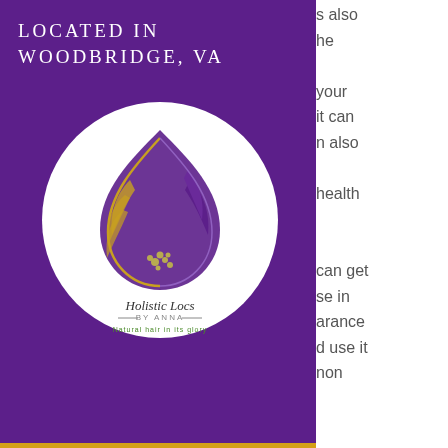[Figure (logo): Holistic Locs by Anna logo — a teardrop/flame shape with feather and flower motif in purple and gold on a white circle background. Text reads 'Holistic Locs BY ANNA Natural hair in its glory' on a purple banner background with text 'Located in Woodbridge, VA' above.]
s also
he
your
it can
n also
health
can get
se in
arance
d use it
non
problems can occur during a steroid treatment, and you should always consult a doctor or athletic trainer to make sure that you are doing the right thing.
A study by the University of California, Davis, shows that regular gym steroid users have